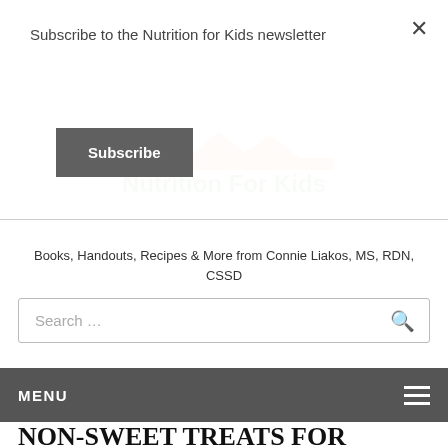Subscribe to the Nutrition for Kids newsletter
Subscribe
[Figure (logo): Nutrition For Kids logo with orange decorative top element and green bold text 'Nutrition For Kids']
Books, Handouts, Recipes & More from Connie Liakos, MS, RDN, CSSD
Search ...
MENU
NON-SWEET TREATS FOR